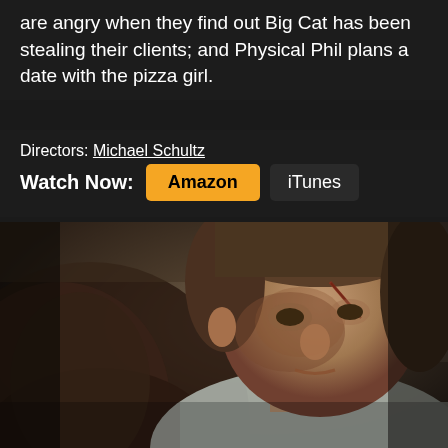are angry when they find out Big Cat has been stealing their clients; and Physical Phil plans a date with the pizza girl.
Directors: Michael Schultz
Watch Now: Amazon iTunes
[Figure (photo): A man with a bruised and cut face looking upward, lying down, appears to be in a hospital or indoor setting. A blurred figure is in the foreground on the left.]